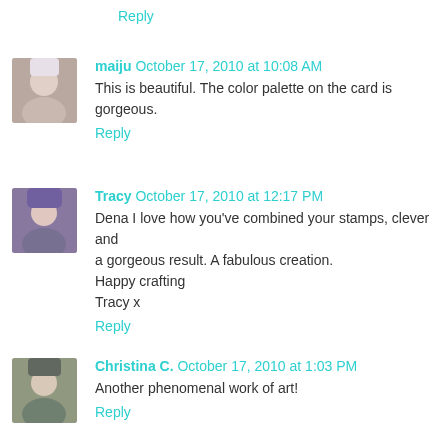Reply
maiju  October 17, 2010 at 10:08 AM
This is beautiful. The color palette on the card is gorgeous.
Reply
Tracy  October 17, 2010 at 12:17 PM
Dena I love how you've combined your stamps, clever and a gorgeous result. A fabulous creation.
Happy crafting
Tracy x
Reply
Christina C.  October 17, 2010 at 1:03 PM
Another phenomenal work of art!
Reply